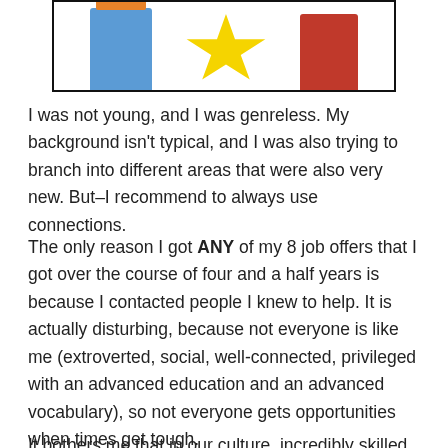[Figure (illustration): Partial illustration cropped at top showing three figures: one in blue pants with orange top, a yellow star/sun shape in the center, and one in a red dress on the right, against a white background with black border.]
I was not young, and I was genreless. My background isn't typical, and I was also trying to branch into different areas that were also very new. But–I recommend to always use connections.
The only reason I got ANY of my 8 job offers that I got over the course of four and a half years is because I contacted people I knew to help. It is actually disturbing, because not everyone is like me (extroverted, social, well-connected, privileged with an advanced education and an advanced vocabulary), so not everyone gets opportunities when times get tough.
It bothers me that in our culture, incredibly skilled, hard...